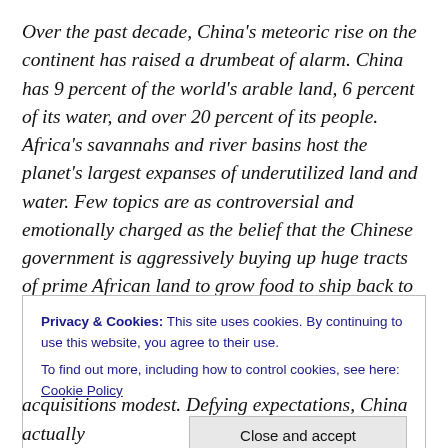Over the past decade, China's meteoric rise on the continent has raised a drumbeat of alarm. China has 9 percent of the world's arable land, 6 percent of its water, and over 20 percent of its people. Africa's savannahs and river basins host the planet's largest expanses of underutilized land and water. Few topics are as controversial and emotionally charged as the belief that the Chinese government is aggressively buying up huge tracts of prime African land to grow food to ship back to China. In Will Africa Feed China?, Deborah Brautigam,
Privacy & Cookies: This site uses cookies. By continuing to use this website, you agree to their use.
To find out more, including how to control cookies, see here: Cookie Policy
acquisitions modest. Defying expectations, China actually